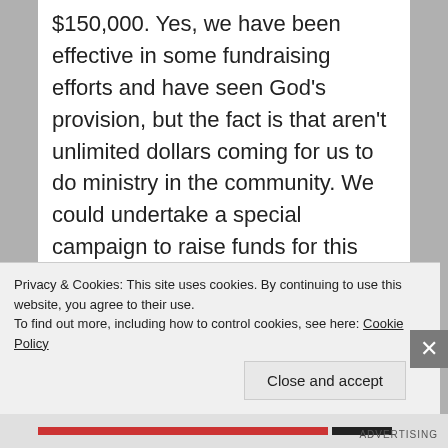$150,000. Yes, we have been effective in some fundraising efforts and have seen God's provision, but the fact is that aren't unlimited dollars coming for us to do ministry in the community. We could undertake a special campaign to raise funds for this project – but in all honesty the best we could hope for would generally fall well short of the $400,000 owed. And this is a single individual. In Tennessee according to recent statistics, over 1 million folks are uninsured. While the gamble that is living without insurance will pay off for some, the law of averages suggests that even a small
Privacy & Cookies: This site uses cookies. By continuing to use this website, you agree to their use.
To find out more, including how to control cookies, see here: Cookie Policy